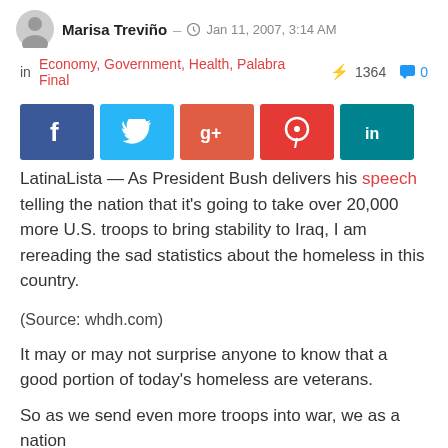Marisa Treviño — Jan 11, 2007, 3:14 AM
in Economy, Government, Health, Palabra Final ⚡ 1364 💬 0
[Figure (other): Social sharing buttons: Facebook, Twitter, Google+, Pinterest, LinkedIn]
LatinaLista — As President Bush delivers his speech telling the nation that it's going to take over 20,000 more U.S. troops to bring stability to Iraq, I am rereading the sad statistics about the homeless in this country.
(Source: whdh.com)
It may or may not surprise anyone to know that a good portion of today's homeless are veterans.
So as we send even more troops into war, we as a nation